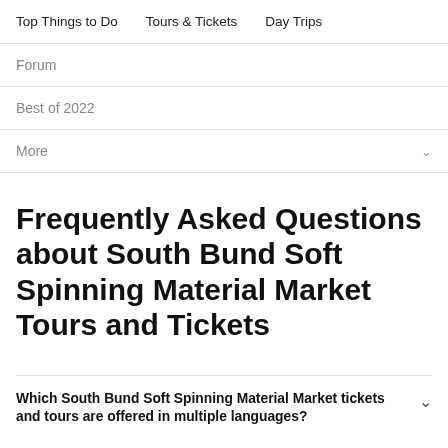Top Things to Do   Tours & Tickets   Day Trips
Forum
Best of 2022
More
Frequently Asked Questions about South Bund Soft Spinning Material Market Tours and Tickets
Which South Bund Soft Spinning Material Market tickets and tours are offered in multiple languages?